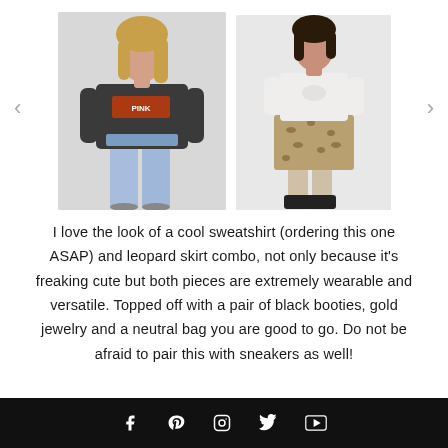[Figure (photo): Two fashion photos side by side in a carousel: left image shows a woman in a dark graphic band sweatshirt and light blue jeans; right image shows a woman in a white tee and leopard print midi skirt with black ankle boots.]
I love the look of a cool sweatshirt (ordering this one ASAP) and leopard skirt combo, not only because it's freaking cute but both pieces are extremely wearable and versatile. Topped off with a pair of black booties, gold jewelry and a neutral bag you are good to go. Do not be afraid to pair this with sneakers as well!
Social media icons: Facebook, Pinterest, Instagram, Twitter, YouTube